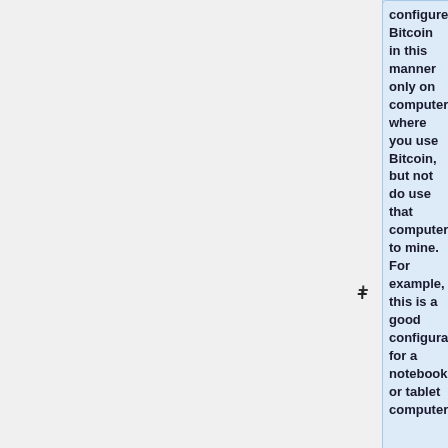configure Bitcoin in this manner only on computers where you use Bitcoin, but not do use that computer to mine. For example, this is a good configuration for a notebook or tablet computer.
Assuming that you have installed the Windows client Bitcoin and run it at least once.